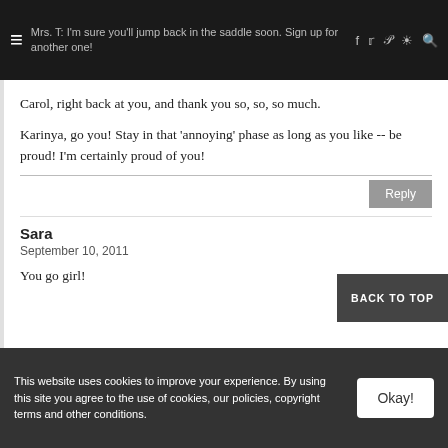Mrs. T: I'm sure you'll jump back in the saddle soon. Sign up for another one!
Carol, right back at you, and thank you so, so, so much.
Karinya, go you! Stay in that 'annoying' phase as long as you like -- be proud! I'm certainly proud of you!
Sara
September 10, 2011
You go girl!
BACK TO TOP
This website uses cookies to improve your experience. By using this site you agree to the use of cookies, our policies, copyright terms and other conditions.
Okay!